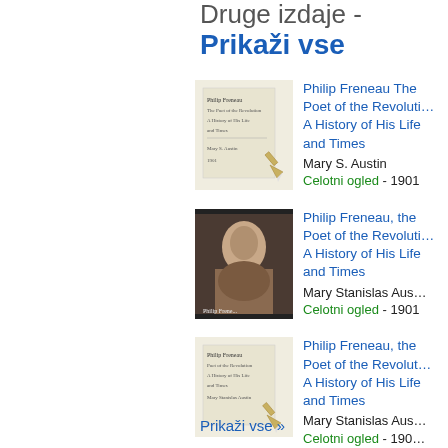Druge izdaje - Prikaži vse
[Figure (illustration): Book cover thumbnail 1 - text-based cover of Philip Freneau book, aged paper look with pencil]
Philip Freneau The Poet of the Revolution A History of His Life and Times
Mary S. Austin
Celotni ogled - 1901
[Figure (illustration): Book cover thumbnail 2 - portrait of a woman, Philip Freneau book cover]
Philip Freneau, the Poet of the Revolution A History of His Life and Times
Mary Stanislas Austin
Celotni ogled - 1901
[Figure (illustration): Book cover thumbnail 3 - text-based cover of Philip Freneau book with pencil]
Philip Freneau, the Poet of the Revolution A History of His Life and Times
Mary Stanislas Aus...
Celotni ogled - 190...
Prikaži vse »